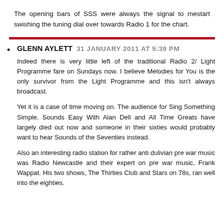The opening bars of SSS were always the signal to mestart swishing the tuning dial over towards Radio 1 for the chart.
GLENN AYLETT 31 JANUARY 2011 AT 5:39 PM

Indeed there is very little left of the traditional Radio 2/ Light Programme fare on Sundays now. I believe Melodies for You is the only survivor from the Light Programme and this isn't always broadcast.

Yet it is a case of time moving on. The audience for Sing Something Simple, Sounds Easy With Alan Dell and All Time Greats have largely died out now and someone in their sixties would probably want to hear Sounds of the Seventies instead.

Also an interesting radio station for rather anti dulivian pre war music was Radio Newcastle and their expert on pre war music, Frank Wappat. His two shows, The Thirties Club and Stars on 78s, ran well into the eighties.